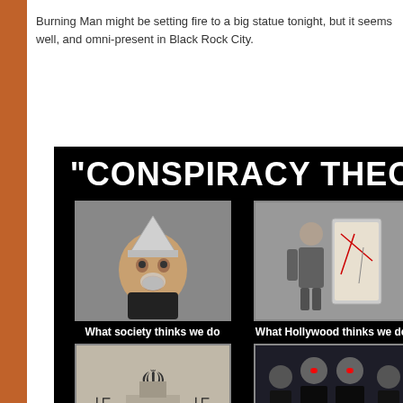Burning Man might be setting fire to a big statue tonight, but it seems well, and omni-present in Black Rock City.
[Figure (infographic): A 'Conspiracy Theorists' meme with four panels showing what society thinks, what Hollywood thinks, etc. Top-left: man with tinfoil hat. Top-right: man investigating a map/board. Bottom-left: Nazi rally photo. Bottom-right: sci-fi movie characters.]